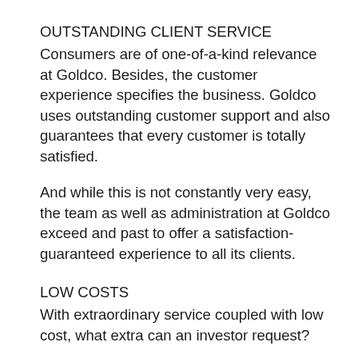OUTSTANDING CLIENT SERVICE
Consumers are of one-of-a-kind relevance at Goldco. Besides, the customer experience specifies the business. Goldco uses outstanding customer support and also guarantees that every customer is totally satisfied.
And while this is not constantly very easy, the team as well as administration at Goldco exceed and past to offer a satisfaction-guaranteed experience to all its clients.
LOW COSTS
With extraordinary service coupled with low cost, what extra can an investor request?